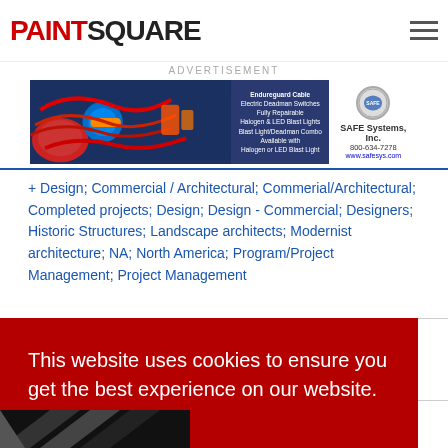PAINTSQUARE
ADVERTISEMENT
[Figure (photo): Advertisement banner for SAFE Systems, Inc. showing cables and equipment. Text reads: Endureguard Cable, Electric Deadman Switches Fully Repairable, Halogen & LED Blast Lights, Blast Light/Deadman Combo Available with Halogen or LED Blast Light. Phone: 800-634-7278. Website: www.safesys.com]
+ Design; Commercial / Architectural; Commerial/Architectural; Completed projects; Design; Design - Commercial; Designers; Historic Structures; Landscape architects; Modernist architecture; NA; North America; Program/Project Management; Project Management
This website uses cookies to ensure you get the best experience on our website.
Learn more
Got it!